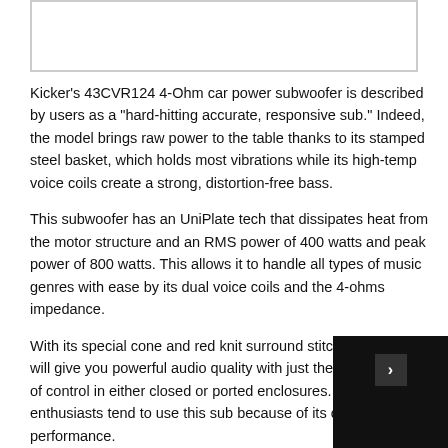[Figure (photo): White rectangular image placeholder at the top of the page]
Kicker's 43CVR124 4-Ohm car power subwoofer is described by users as a “hard-hitting accurate, responsive sub.” Indeed, the model brings raw power to the table thanks to its stamped steel basket, which holds most vibrations while its high-temp voice coils create a strong, distortion-free bass.
This subwoofer has an UniPlate tech that dissipates heat from the motor structure and an RMS power of 400 watts and peak power of 800 watts. This allows it to handle all types of music genres with ease by its dual voice coils and the 4-ohms impedance.
With its special cone and red knit surround stitching, this sub will give you powerful audio quality with just the right amount of control in either closed or ported enclosures. Car audio enthusiasts tend to use this sub because of its overall sound performance.